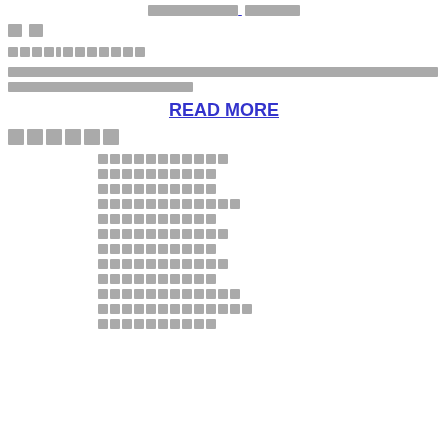[redacted link]
[two redacted characters]
[redacted link - about 12 characters]
[redacted paragraph text - two lines]
READ MORE
[six redacted characters]
[redacted link]
[redacted link]
[redacted link]
[redacted link]
[redacted link]
[redacted link]
[redacted link]
[redacted link]
[redacted link]
[redacted link]
[redacted link]
[redacted link]